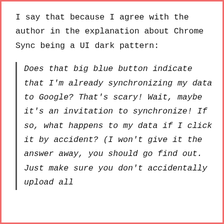I say that because I agree with the author in the explanation about Chrome Sync being a UI dark pattern:
Does that big blue button indicate that I'm already synchronizing my data to Google? That's scary! Wait, maybe it's an invitation to synchronize! If so, what happens to my data if I click it by accident? (I won't give it the answer away, you should go find out. Just make sure you don't accidentally upload all